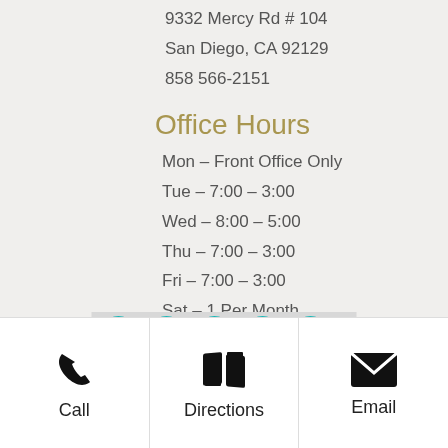9332 Mercy Rd # 104
San Diego, CA 92129
858 566-2151
Office Hours
Mon – Front Office Only
Tue – 7:00 – 3:00
Wed – 8:00 – 5:00
Thu – 7:00 – 3:00
Fri – 7:00 – 3:00
Sat – 1 Per Month
[Figure (other): Star rating icons row (teal/gold stars on grey background)]
Call
Directions
Email